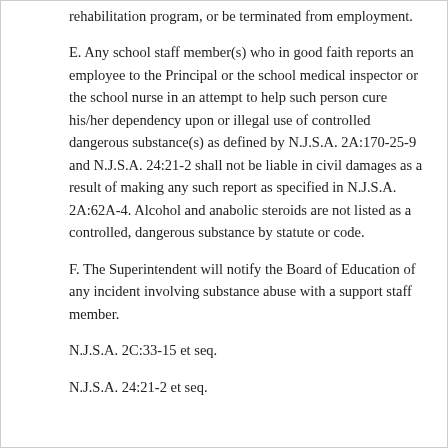rehabilitation program, or be terminated from employment.
E. Any school staff member(s) who in good faith reports an employee to the Principal or the school medical inspector or the school nurse in an attempt to help such person cure his/her dependency upon or illegal use of controlled dangerous substance(s) as defined by N.J.S.A. 2A:170-25-9 and N.J.S.A. 24:21-2 shall not be liable in civil damages as a result of making any such report as specified in N.J.S.A. 2A:62A-4. Alcohol and anabolic steroids are not listed as a controlled, dangerous substance by statute or code.
F. The Superintendent will notify the Board of Education of any incident involving substance abuse with a support staff member.
N.J.S.A. 2C:33-15 et seq.
N.J.S.A. 24:21-2 et seq.